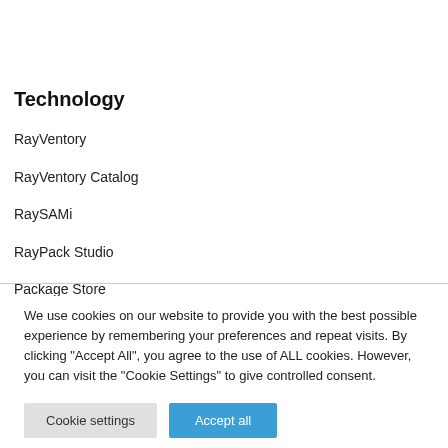Technology
RayVentory
RayVentory Catalog
RaySAMi
RayPack Studio
Package Store
We use cookies on our website to provide you with the best possible experience by remembering your preferences and repeat visits. By clicking "Accept All", you agree to the use of ALL cookies. However, you can visit the "Cookie Settings" to give controlled consent.
Cookie settings | Accept all